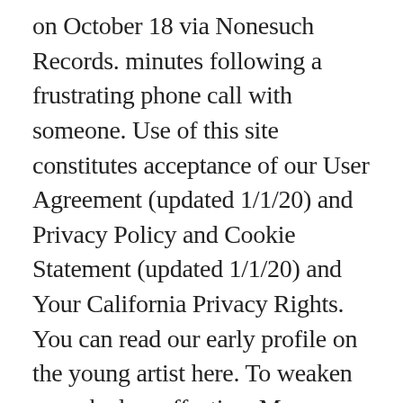on October 18 via Nonesuch Records. minutes following a frustrating phone call with someone. Use of this site constitutes acceptance of our User Agreement (updated 1/1/20) and Privacy Policy and Cookie Statement (updated 1/1/20) and Your California Privacy Rights. You can read our early profile on the young artist here. To weaken or make less effective. My intention with ‘Water Me Down’ was to create a playground in which to explore difficult feelings with confidence, triumph and foresight.”. HTML5 Embed. Listen to a curated playlist crafted from this song. We at LetsSingIt do our best to provide all songs with lyrics. To contact us about advertising please email contact (at) spin.com. Only with grace Unfortunately we don’t have the lyrics for the song "Water Me Down" yet. Report this GIF; Iframe Embed. I tackled drums, arrangement, melodies and After you added the stock, the soup tasted like it had been watered down. Produced by Vagabon. Source www.youtube.com. Vagabon. Never meant